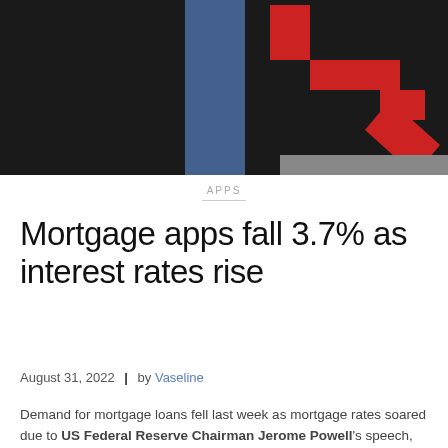[Figure (photo): Person in dark suit with a red downward arrow graphic overlay — likely representing falling mortgage applications or declining rates.]
APPS
Mortgage apps fall 3.7% as interest rates rise
August 31, 2022  |  by Vaseline
Demand for mortgage loans fell last week as mortgage rates soared due to US Federal Reserve Chairman Jerome Powell's speech, which indicated that tackling persistent inflation will now cause some pain.